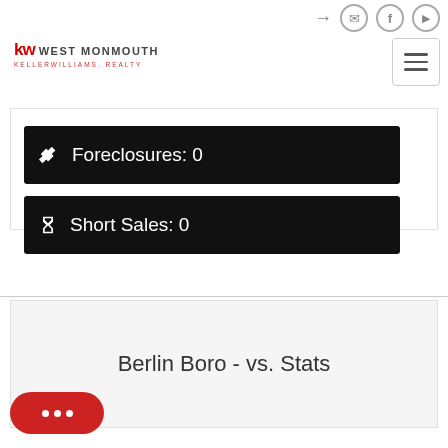KW WEST MONMOUTH - KELLERWILLIAMS REALTY
Foreclosures: 0
Short Sales: 0
Berlin Boro - vs. Stats